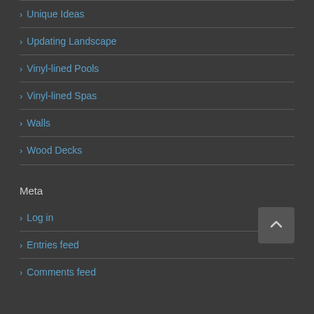> Unique Ideas
> Updating Landscape
> Vinyl-lined Pools
> Vinyl-lined Spas
> Walls
> Wood Decks
Meta
> Log in
> Entries feed
> Comments feed